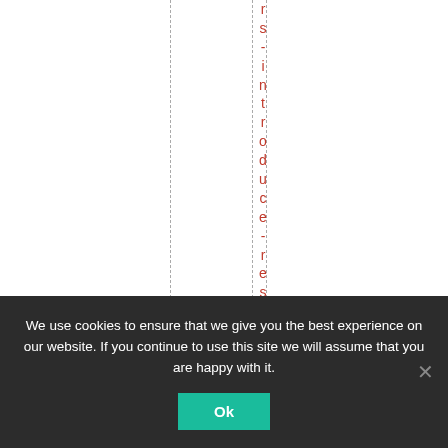[Figure (other): White background page area with dashed vertical column guide lines and a vertical red text reading 'rs-introduce-resol' (partial word visible), arranged letter by letter top to bottom.]
We use cookies to ensure that we give you the best experience on our website. If you continue to use this site we will assume that you are happy with it. Ok